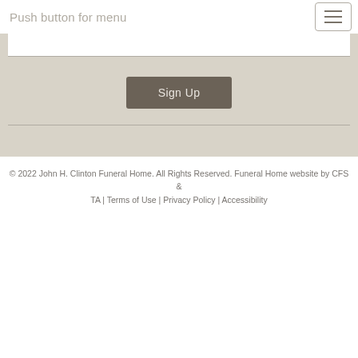Push button for menu
[Figure (screenshot): Sign Up button on a beige/tan form background with horizontal dividers above and below the button]
© 2022 John H. Clinton Funeral Home. All Rights Reserved. Funeral Home website by CFS & TA | Terms of Use | Privacy Policy | Accessibility